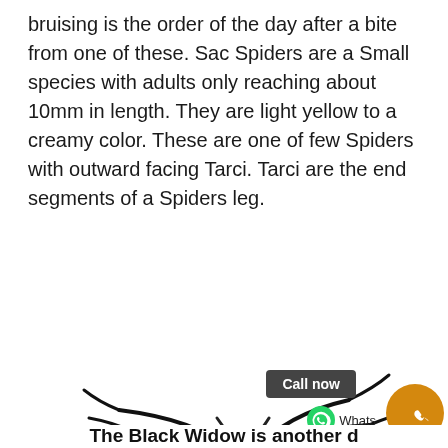bruising is the order of the day after a bite from one of these. Sac Spiders are a Small species with adults only reaching about 10mm in length. They are light yellow to a creamy color. These are one of few Spiders with outward facing Tarci. Tarci are the end segments of a Spiders leg.
[Figure (photo): A black widow spider photographed from above on a white background, showing its characteristic black body with red hourglass marking on the abdomen and long black legs spread outward.]
The Black Widow is another dangerous...